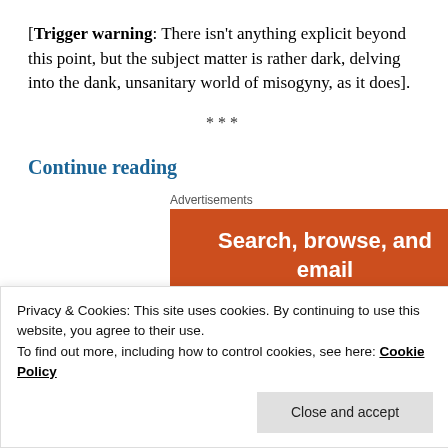[Trigger warning: There isn't anything explicit beyond this point, but the subject matter is rather dark, delving into the dank, unsanitary world of misogyny, as it does].
***
Continue reading
Advertisements
[Figure (other): Orange advertisement banner with white bold text reading 'Search, browse, and email with more privacy.']
Privacy & Cookies: This site uses cookies. By continuing to use this website, you agree to their use.
To find out more, including how to control cookies, see here: Cookie Policy
Close and accept